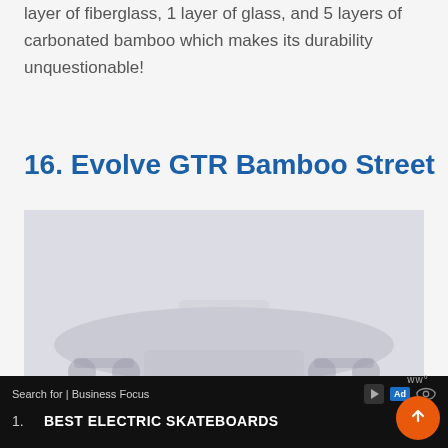layer of fiberglass, 1 layer of glass, and 5 layers of carbonated bamboo which makes its durability unquestionable!
16. Evolve GTR Bamboo Street
[Figure (photo): A photograph of the Evolve GTR Bamboo Street electric skateboard, shown against a light background. The image appears faded/watermarked.]
Search for | Business Focus
1.    BEST ELECTRIC SKATEBOARDS    →